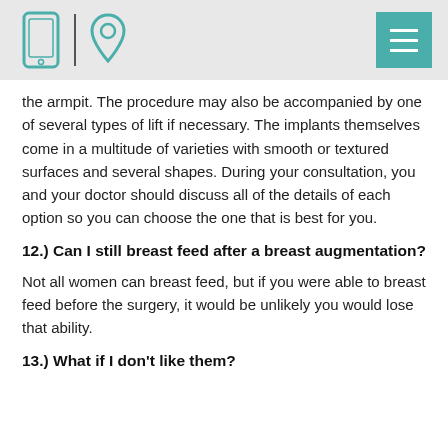[Header with phone icon, location pin icon, and menu button]
the armpit. The procedure may also be accompanied by one of several types of lift if necessary. The implants themselves come in a multitude of varieties with smooth or textured surfaces and several shapes. During your consultation, you and your doctor should discuss all of the details of each option so you can choose the one that is best for you.
12.) Can I still breast feed after a breast augmentation?
Not all women can breast feed, but if you were able to breast feed before the surgery, it would be unlikely you would lose that ability.
13.) What if I don't like them?